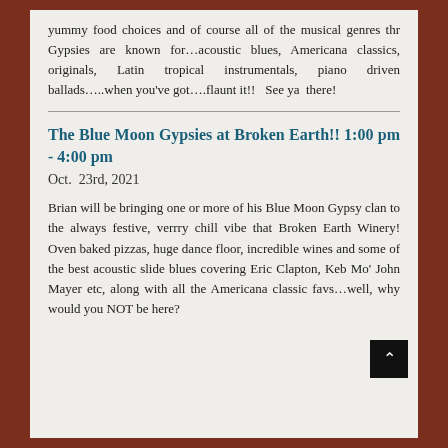yummy food choices and of course all of the musical genres thr Gypsies are known for…acoustic blues, Americana classics, originals, Latin tropical instrumentals, piano driven ballads…..when you've got….flaunt it!!   See ya  there!
The Blue Moon Gypsies at Broken Earth!! 1:00 pm - 4:00 pm
Oct. 23rd, 2021
Brian will be bringing one or more of his Blue Moon Gypsy clan to the always festive, verrry chill vibe that Broken Earth Winery! Oven baked pizzas, huge dance floor, incredible wines and some of the best acoustic slide blues covering Eric Clapton, Keb Mo' John Mayer etc, along with all the Americana classic favs…well, why would you NOT be here?